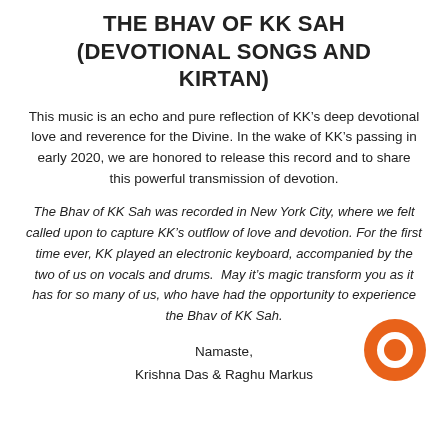THE BHAV OF KK SAH (DEVOTIONAL SONGS AND KIRTAN)
This music is an echo and pure reflection of KK’s deep devotional love and reverence for the Divine. In the wake of KK’s passing in early 2020, we are honored to release this record and to share this powerful transmission of devotion.
The Bhav of KK Sah was recorded in New York City, where we felt called upon to capture KK’s outflow of love and devotion. For the first time ever, KK played an electronic keyboard, accompanied by the two of us on vocals and drums. May it’s magic transform you as it has for so many of us, who have had the opportunity to experience the Bhav of KK Sah.
Namaste,
Krishna Das & Raghu Markus